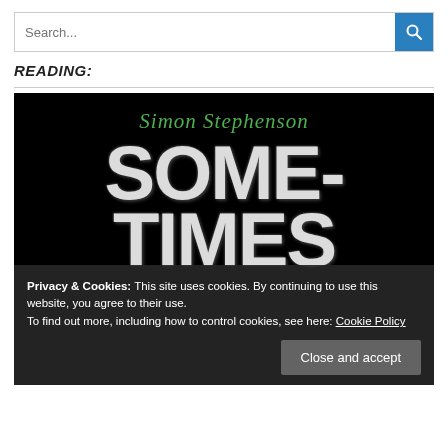Search...
READING:
[Figure (photo): Book cover of 'Sometimes' by Simon Stephenson. Black background with author name in green cursive at top and large distressed white block letters spelling 'SOME-TIMES' filling the cover.]
Privacy & Cookies: This site uses cookies. By continuing to use this website, you agree to their use.
To find out more, including how to control cookies, see here: Cookie Policy
Close and accept